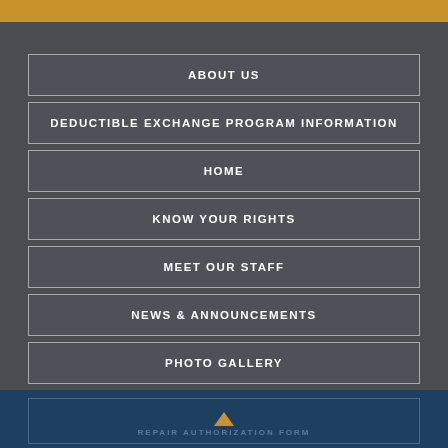ABOUT US
DEDUCTIBLE EXCHANGE PROGRAM INFORMATION
HOME
KNOW YOUR RIGHTS
MEET OUR STAFF
NEWS & ANNOUNCEMENTS
PHOTO GALLERY
Q & A
REPAIR AUTHORIZATION FORM